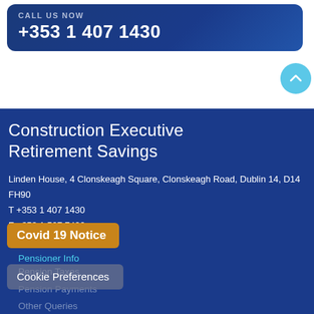CALL US NOW
+353 1 407 1430
Construction Executive Retirement Savings
Linden House, 4 Clonskeagh Square, Clonskeagh Road, Dublin 14, D14 FH90
T +353 1 407 1430
F +353 1 507 7490
E info@cers.ie
Pensioner Info
Pension Taxes
Pension Payments
Other Queries
FAQs
Investment Choices
Investment Funds
Switch Between Funds
Fund Returns
Covid 19 Notice
Cookie Preferences